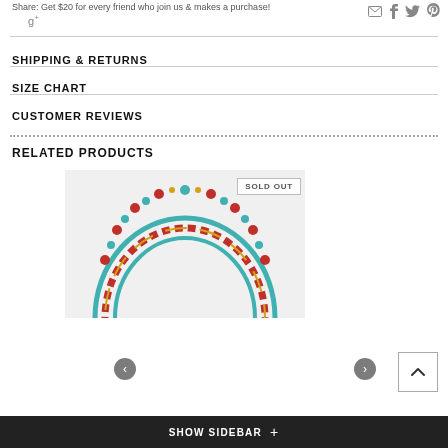Share: Get $20 for every friend who join us & makes a purchase!
SHIPPING & RETURNS
SIZE CHART
CUSTOMER REVIEWS
RELATED PRODUCTS
[Figure (photo): Photo of a beaded necklace with red, turquoise/green, and gold beads arranged in a loop on a white background. A 'SOLD OUT' badge is visible in the top right corner of the image.]
SHOW SIDEBAR +